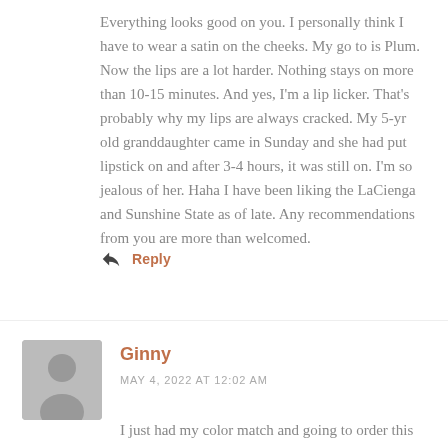Everything looks good on you. I personally think I have to wear a satin on the cheeks. My go to is Plum. Now the lips are a lot harder. Nothing stays on more than 10-15 minutes. And yes, I'm a lip licker. That's probably why my lips are always cracked. My 5-yr old granddaughter came in Sunday and she had put lipstick on and after 3-4 hours, it was still on. I'm so jealous of her. Haha I have been liking the LaCienga and Sunshine State as of late. Any recommendations from you are more than welcomed.
Reply
Ginny
MAY 4, 2022 AT 12:02 AM
I just had my color match and going to order this